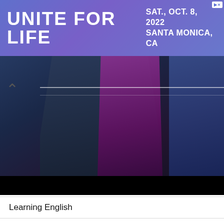[Figure (infographic): Advertisement banner with purple/blue gradient background. Large white bold text 'UNITE FOR LIFE' on the left. On the right: 'SAT., OCT. 8, 2022' and 'SANTA MONICA, CA' in white bold text. Small ad corner icon top right.]
[Figure (photo): Photo of people, partially visible figures in dark, purple/magenta, and blue outfits behind a glass railing. Below the photo is a black bar.]
Learning English
All Posts
ADS